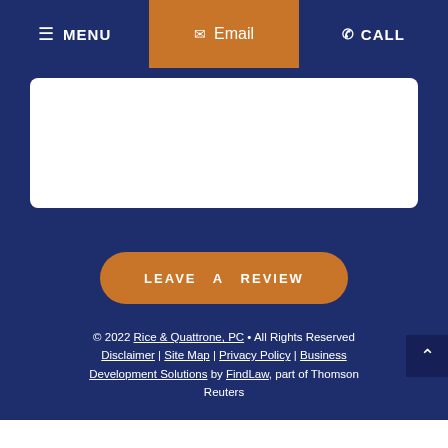≡ MENU   ✉ Email   ✆ CALL
[Figure (other): White text input box on dark navy blue background]
LEAVE A REVIEW
© 2022 Rice & Quattrone, PC • All Rights Reserved Disclaimer | Site Map | Privacy Policy | Business Development Solutions by FindLaw, part of Thomson Reuters